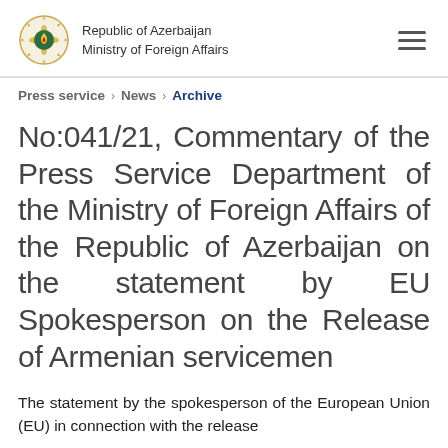Republic of Azerbaijan
Ministry of Foreign Affairs
Press service > News > Archive
No:041/21, Commentary of the Press Service Department of the Ministry of Foreign Affairs of the Republic of Azerbaijan on the statement by EU Spokesperson on the Release of Armenian servicemen
The statement by the spokesperson of the European Union (EU) in connection with the release